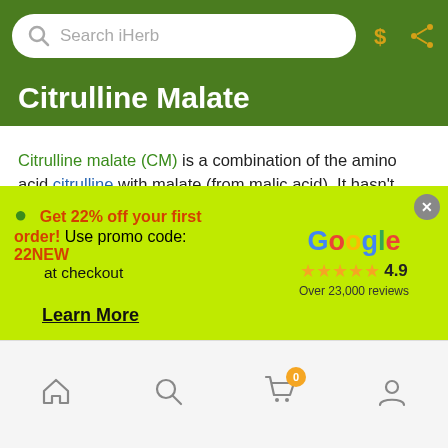Search iHerb
Citrulline Malate
Citrulline malate (CM) is a combination of the amino acid citrulline with malate (from malic acid). It hasn't been studied as extensively as some of the other supplements as it hasn't been around as long, though some of the initial research shows some promising results when consumed pre-workout under specific circumstances. The research studies that have shown a performance advantage have been conducted using very intense training sessions with multiple sets taken to failure.10-12 In general, it is not sound training advice to exercise with that degree of intensity on a routine basis, though
Get 22% off your first order! Use promo code: 22NEW at checkout
Learn More
[Figure (logo): Google logo with 4.9 star rating and Over 23,000 reviews]
Home | Search | Cart (0) | Account